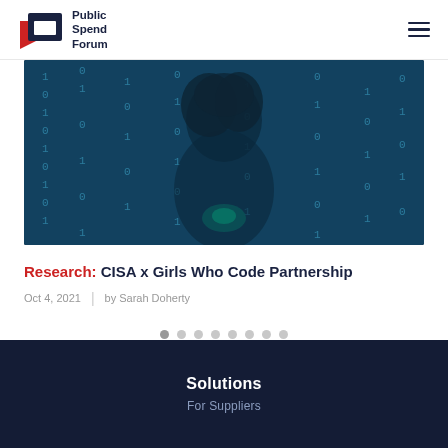Public Spend Forum
[Figure (photo): Dark blue-tinted photo of a woman with curly hair surrounded by falling binary code (0s and 1s), matrix-style cybersecurity imagery]
Research: CISA x Girls Who Code Partnership
Oct 4, 2021  |  by Sarah Doherty
[Figure (infographic): Carousel navigation dots — 8 circular dots indicating slide position]
Solutions
For Suppliers